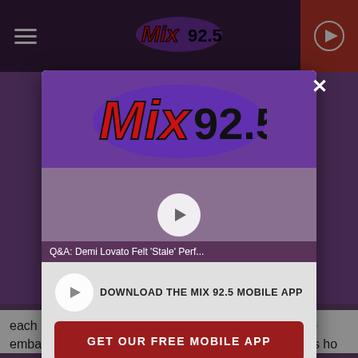[Figure (screenshot): Mobile website screenshot showing Mix 92.5 radio station page with a modal popup overlay. The modal contains the Mix 92.5 logo on purple background, a video preview with title 'Q&A: Demi Lovato Felt Stale Perf...', a play button, download app text, a red 'GET OUR FREE MOBILE APP' button, and 'Also listen on: amazon alexa' text. Background shows navigation bar with hamburger menu, Mix 92.5 logo, play button, and article text.]
Mix 92.5
Q&A: Demi Lovato Felt 'Stale' Perf...
DOWNLOAD THE MIX 92.5 MOBILE APP
GET OUR FREE MOBILE APP
Also listen on:  amazon alexa
each other our work from when we were younger—the embarrassing stuff, it was great," she continued. That's ho